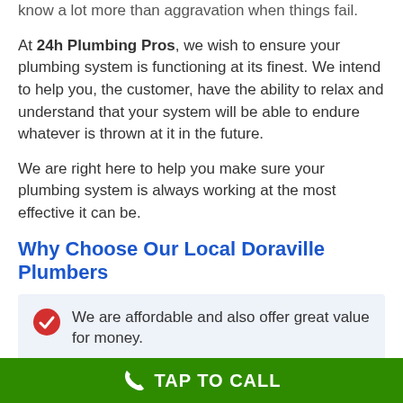know a lot more than aggravation when things fail.
At 24h Plumbing Pros, we wish to ensure your plumbing system is functioning at its finest. We intend to help you, the customer, have the ability to relax and understand that your system will be able to endure whatever is thrown at it in the future.
We are right here to help you make sure your plumbing system is always working at the most effective it can be.
Why Choose Our Local Doraville Plumbers
We are affordable and also offer great value for money.
We offer a wide range of residential and also
TAP TO CALL